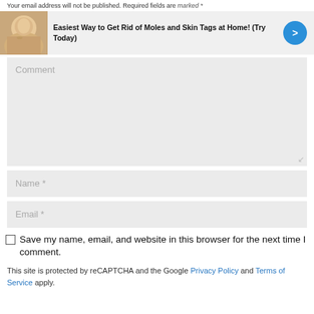Your email address will not be published. Required fields are marked *
[Figure (screenshot): Advertisement banner showing a woman's face with text: Easiest Way to Get Rid of Moles and Skin Tags at Home! (Try Today), with a blue circular arrow button]
Comment
Name *
Email *
Save my name, email, and website in this browser for the next time I comment.
This site is protected by reCAPTCHA and the Google Privacy Policy and Terms of Service apply.